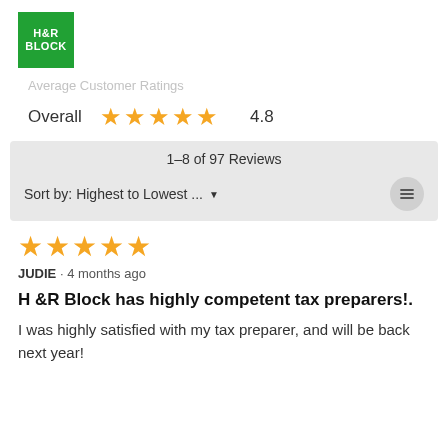[Figure (logo): H&R Block green square logo with white text]
Average Customer Ratings
Overall ★★★★★ 4.8
1–8 of 97 Reviews
Sort by: Highest to Lowest ...
★★★★★
JUDIE · 4 months ago
H &R Block has highly competent tax preparers!.
I was highly satisfied with my tax preparer, and will be back next year!